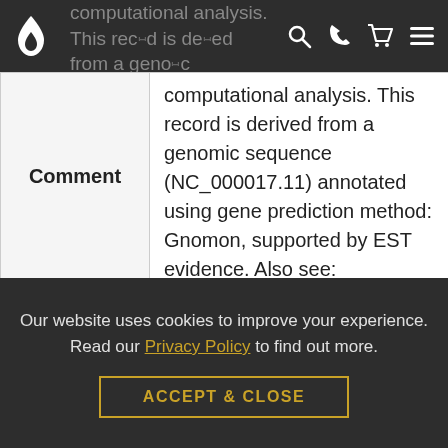computational analysis. This record is derived from a genomic sequence (NC_000017.11) annotated using gene prediction method: Gnomon, supported by EST evidence. Also see: Documentation of NCBI's Annotation Process ##Genome-Annotation-Data-START## Annotation Provider :: NCBI Annotation Status :: Full annotation Annotation Version :: Homo sapiens Annotation Release 108 Annotation Pipeline NCBI eukaryotic genome
| Comment |  |
| --- | --- |
| Comment | computational analysis. This record is derived from a genomic sequence (NC_000017.11) annotated using gene prediction method: Gnomon, supported by EST evidence. Also see: Documentation of NCBI's Annotation Process ##Genome-Annotation-Data-START## Annotation Provider :: NCBI Annotation Status :: Full annotation Annotation Version :: Homo sapiens Annotation Release 108 Annotation Pipeline NCBI eukaryotic genome |
Our website uses cookies to improve your experience. Read our Privacy Policy to find out more.
ACCEPT & CLOSE